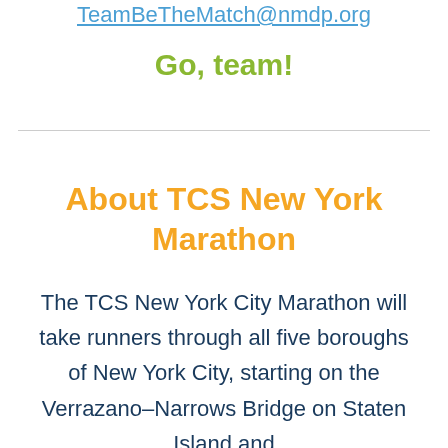TeamBeTheMatch@nmdp.org
Go, team!
About TCS New York Marathon
The TCS New York City Marathon will take runners through all five boroughs of New York City, starting on the Verrazano–Narrows Bridge on Staten Island and